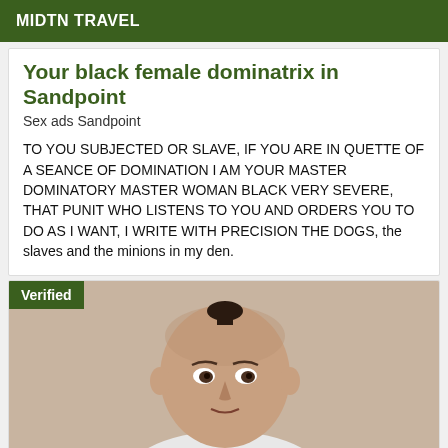MIDTN TRAVEL
Your black female dominatrix in Sandpoint
Sex ads Sandpoint
TO YOU SUBJECTED OR SLAVE, IF YOU ARE IN QUETTE OF A SEANCE OF DOMINATION I AM YOUR MASTER DOMINATORY MASTER WOMAN BLACK VERY SEVERE, THAT PUNIT WHO LISTENS TO YOU AND ORDERS YOU TO DO AS I WANT, I WRITE WITH PRECISION THE DOGS, the slaves and the minions in my den.
[Figure (photo): Photo of a bald man with a serious expression, with a 'Verified' badge overlay in the top-left corner]